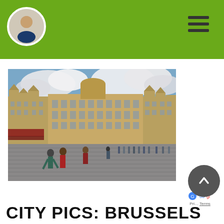[Figure (photo): Photograph of the Grand Place in Brussels, Belgium. Historic guild houses and the Town Hall are visible in the background under a partly cloudy sky. Tourists walk across the cobblestone square in the foreground.]
CITY PICS: BRUSSELS